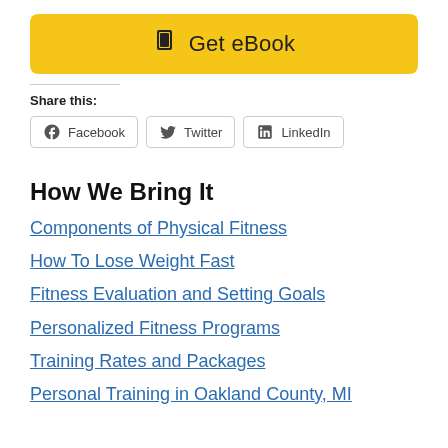[Figure (other): Yellow 'Get eBook' button with book icon]
Share this:
[Figure (other): Social share buttons: Facebook, Twitter, LinkedIn]
How We Bring It
Components of Physical Fitness
How To Lose Weight Fast
Fitness Evaluation and Setting Goals
Personalized Fitness Programs
Training Rates and Packages
Personal Training in Oakland County, MI